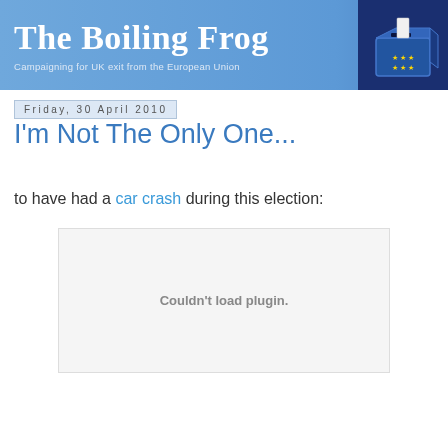The Boiling Frog — Campaigning for UK exit from the European Union
Friday, 30 April 2010
I'm Not The Only One...
to have had a car crash during this election:
[Figure (other): Embedded plugin area showing 'Couldn't load plugin.' error message]
Couldn't load plugin.